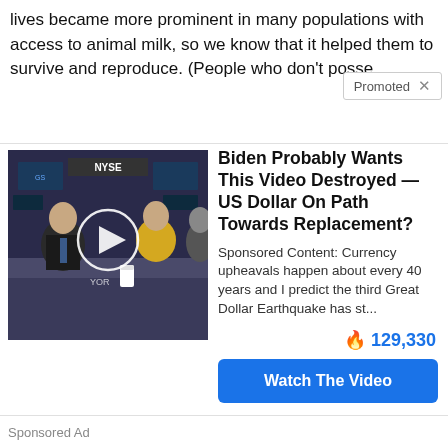lives became more prominent in many populations with access to animal milk, so we know that it helped them to survive and reproduce. (People who don't posse
Promoted ×
[Figure (screenshot): Video thumbnail showing two people at a desk in a stock exchange studio (NYSE visible in background), with a white play button circle overlay. Text 'YOR' visible on desk.]
Biden Probably Wants This Video Destroyed — US Dollar On Path Towards Replacement?
Sponsored Content: Currency upheavals happen about every 40 years and I predict the third Great Dollar Earthquake has st...
🔥 129,330
Watch The Video
Sponsored Ad